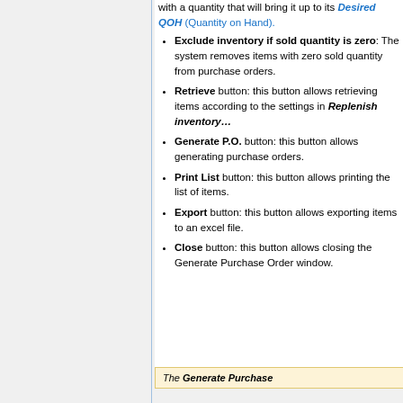with a quantity that will bring it up to its Desired QOH (Quantity on Hand).
Exclude inventory if sold quantity is zero: The system removes items with zero sold quantity from purchase orders.
Retrieve button: this button allows retrieving items according to the settings in Replenish inventory…
Generate P.O. button: this button allows generating purchase orders.
Print List button: this button allows printing the list of items.
Export button: this button allows exporting items to an excel file.
Close button: this button allows closing the Generate Purchase Order window.
The Generate Purchase